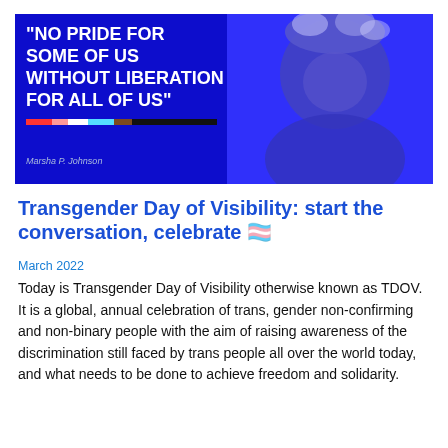[Figure (photo): Banner image with blue overlay showing a smiling person wearing an elaborate floral headpiece on the right, and on the left a dark blue panel with bold white text quoting Marsha P. Johnson: 'No pride for some of us without liberation for all of us' with a pride flag stripe bar and attribution 'Marsha P. Johnson' below.]
Transgender Day of Visibility: start the conversation, celebrate 🏳️‍⚧️
March 2022
Today is Transgender Day of Visibility otherwise known as TDOV. It is a global, annual celebration of trans, gender non-confirming and non-binary people with the aim of raising awareness of the discrimination still faced by trans people all over the world today, and what needs to be done to achieve freedom and solidarity.